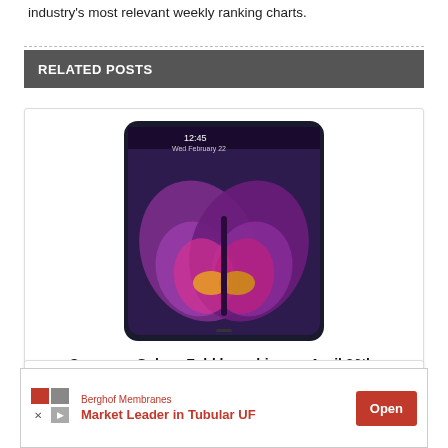industry's most relevant weekly ranking charts.
RELATED POSTS
[Figure (photo): Samsung Galaxy Fold smartphone showing butterfly wallpaper on folded display, time shows 12:45 Wed February 22]
Samsung Galaxy Fold launching on April 26th, Galaxy S10 5G arriving in May
[Figure (screenshot): Partial view of a second post card with a red banner partially visible]
[Figure (other): Advertisement banner: Berghof Membranes - Market Leader in Tubular UF, with Open button]